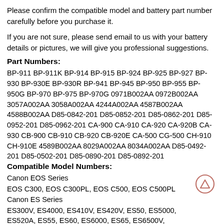Please confirm the compatible model and battery part number carefully before you purchase it.
If you are not sure, please send email to us with your battery details or pictures, we will give you professional suggestions.
Part Numbers:
BP-911 BP-911K BP-914 BP-915 BP-924 BP-925 BP-927 BP-930 BP-930E BP-930R BP-941 BP-945 BP-950 BP-955 BP-950G BP-970 BP-975 BP-970G 0971B002AA 0972B002AA 3057A002AA 3058A002AA 4244A002AA 4587B002AA 4588B002AA D85-0842-201 D85-0852-201 D85-0862-201 D85-0952-201 D85-0962-201 CA-900 CA-910 CA-920 CA-920B CA-930 CB-900 CB-910 CB-920 CB-920E CA-500 CG-500 CH-910 CH-910E 4589B002AA 8029A002AA 8034A002AA D85-0492-201 D85-0502-201 D85-0890-201 D85-0892-201
Compatible Model Numbers:
Canon EOS Series
EOS C300, EOS C300PL, EOS C500, EOS C500PL
Canon ES Series
ES300V, ES4000, ES410V, ES420V, ES50, ES5000, ES520A, ES55, ES60, ES6000, ES65, ES6500V, ES7000es, ES7000V, ES75, ES8000V, ES8100, ES8100V, ES8000V, ES8400V